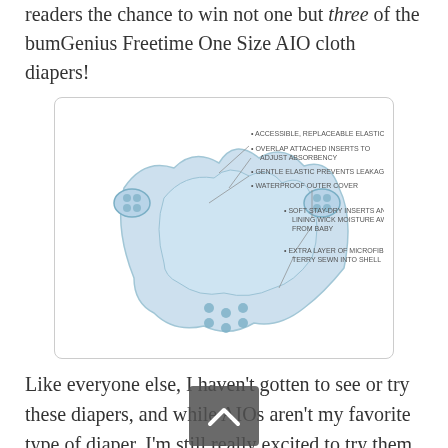readers the chance to win not one but three of the bumGenius Freetime One Size AIO cloth diapers!
[Figure (illustration): Diagram of bumGenius Freetime One Size AIO cloth diaper with labeled features: ACCESSIBLE, REPLACEABLE ELASTIC; OVERLAP ATTACHED INSERTS TO ADJUST ABSORBENCY; GENTLE ELASTIC PREVENTS LEAKAGE; WATERPROOF OUTER COVER; SOFT STAY-DRY INSERTS AND LINING WICK MOISTURE AWAY FROM BABY; EXTRA LAYER OF MICROFIBER TERRY SEWN INTO SHELL]
Like everyone else, I haven't gotten to see or try these diapers, and while AIOs aren't my favorite type of diaper, I'm still really excited to try them. I think the soaker style (sewn in at the ends only) will be much easier to